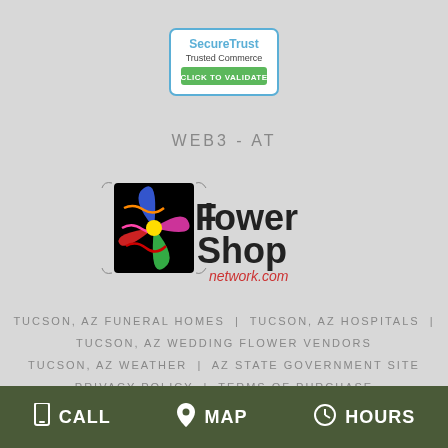[Figure (logo): SecureTrust Trusted Commerce badge with blue border, blue and green text, and green CLICK TO VALIDATE button]
WEB3-AT
[Figure (logo): Flower Shop Network logo with colorful flower icon and text flowershop network.com]
TUCSON, AZ FUNERAL HOMES | TUCSON, AZ HOSPITALS | TUCSON, AZ WEDDING FLOWER VENDORS
TUCSON, AZ WEATHER | AZ STATE GOVERNMENT SITE
PRIVACY POLICY | TERMS OF PURCHASE
CALL   MAP   HOURS